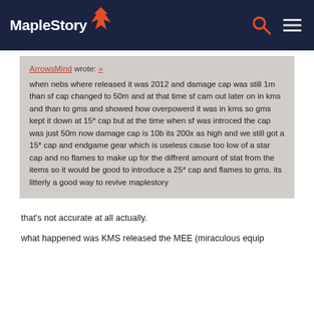MapleStory
ArrowsMind wrote: »

when nebs where released it was 2012 and damage cap was still 1m than sf cap changed to 50m and at that time sf cam out later on in kms and than to gms and showed how overpowerd it was in kms so gms kept it down at 15* cap but at the time when sf was introced the cap was just 50m now damage cap is 10b its 200x as high and we still got a 15* cap and endgame gear which is useless cause too low of a star cap and no flames to make up for the diffrent amount of stat from the items so it would be good to introduce a 25* cap and flames to gms. its litterly a good way to revive maplestory
that's not accurate at all actually.
what happened was KMS released the MEE (miraculous equip